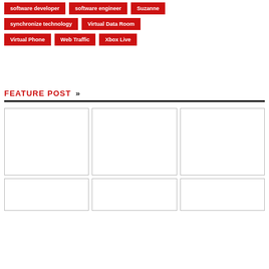software developer
software engineer
Suzanne
synchronize technology
Virtual Data Room
Virtual Phone
Web Traffic
Xbox Live
FEATURE POST »
[Figure (other): A 3-column grid of 6 empty white image placeholder boxes arranged in 2 rows, with thin gray borders.]